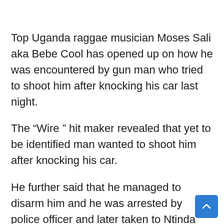Top Uganda raggae musician Moses Sali aka Bebe Cool has opened up on how he was encountered by gun man who tried to shoot him after knocking his car last night.
The “Wire ” hit maker revealed that yet to be identified man wanted to shoot him after knocking his car.
He further said that he managed to disarm him and he was arrested by police officer and later taken to Ntinda Police station.